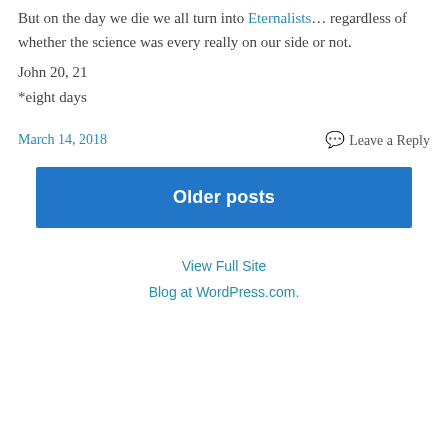But on the day we die we all turn into Eternalists… regardless of whether the science was every really on our side or not.
John 20, 21
*eight days
March 14, 2018
💬 Leave a Reply
Older posts
View Full Site
Blog at WordPress.com.